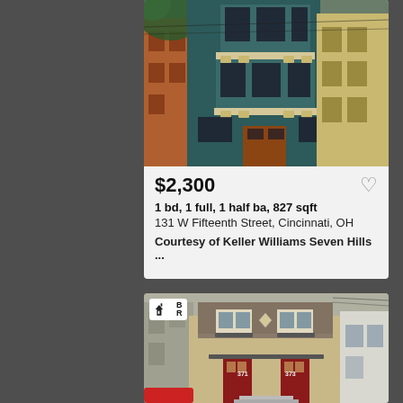[Figure (photo): Exterior photo of a multi-story teal/dark green urban rowhouse with bay windows and ornate architectural details]
$2,300
1 bd, 1 full, 1 half ba, 827 sqft
131 W Fifteenth Street, Cincinnati, OH
Courtesy of Keller Williams Seven Hills ...
[Figure (photo): Exterior photo of a two-story craftsman-style house with decorative shingles, red doors, and ornamental iron railings. BR logo badge in upper left.]